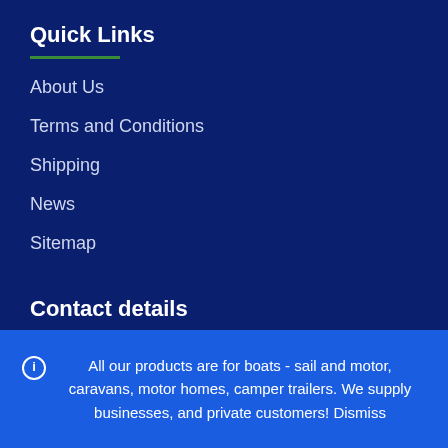Quick Links
About Us
Terms and Conditions
Shipping
News
Sitemap
Contact details
✆ 0418-497-029   ✉ info@bcaaust.com.au
All our products are for boats - sail and motor, caravans, motor homes, camper trailers. We supply businesses, and private customers! Dismiss